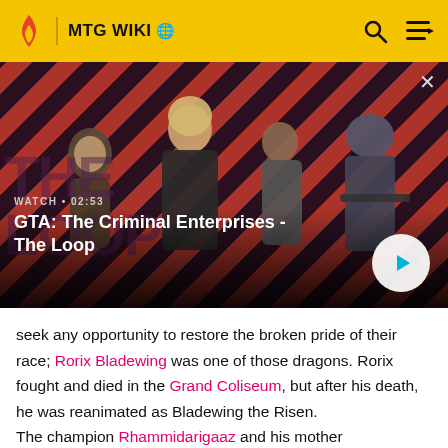MTG WIKI
[Figure (screenshot): Video thumbnail for 'GTA: The Criminal Enterprises - The Loop' showing game characters on a red and dark diagonal striped background. A play button is visible on the right. Duration shown as 02:53.]
seek any opportunity to restore the broken pride of their race; Rorix Bladewing was one of those dragons. Rorix fought and died in the Grand Coliseum, but after his death, he was reanimated as Bladewing the Risen.
The champion Rhammidarigaaz and his mother